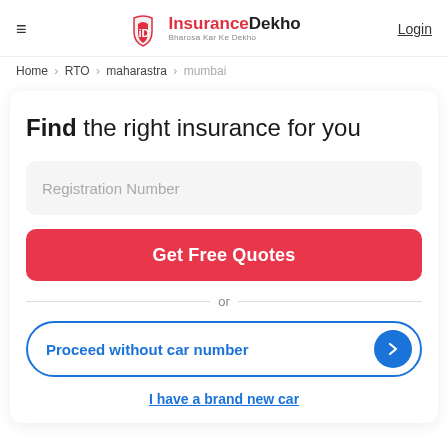InsuranceDekho Bharosa Kar Ke Dekho | Login
Home > RTO > maharastra > mumbai
Find the right insurance for you
Registration Number
Get Free Quotes
or
Proceed without car number
I have a brand new car